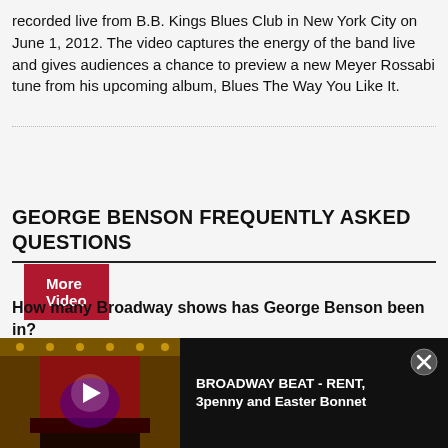recorded live from B.B. Kings Blues Club in New York City on June 1, 2012. The video captures the energy of the band live and gives audiences a chance to preview a new Meyer Rossabi tune from his upcoming album, Blues The Way You Like It.
More Video
GEORGE BENSON FREQUENTLY ASKED QUESTIONS
How many Broadway shows has George Benson been in?
George Benson has appeared on Broadway in 2 shows…
[Figure (screenshot): Video overlay bar at bottom of page showing a Broadway theater thumbnail with play button, and text 'BROADWAY BEAT - RENT, 3penny and Easter Bonnet' with a close (X) button]